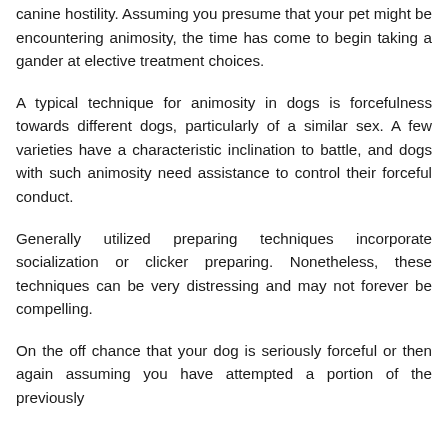canine hostility. Assuming you presume that your pet might be encountering animosity, the time has come to begin taking a gander at elective treatment choices.
A typical technique for animosity in dogs is forcefulness towards different dogs, particularly of a similar sex. A few varieties have a characteristic inclination to battle, and dogs with such animosity need assistance to control their forceful conduct.
Generally utilized preparing techniques incorporate socialization or clicker preparing. Nonetheless, these techniques can be very distressing and may not forever be compelling.
On the off chance that your dog is seriously forceful or then again assuming you have attempted a portion of the previously